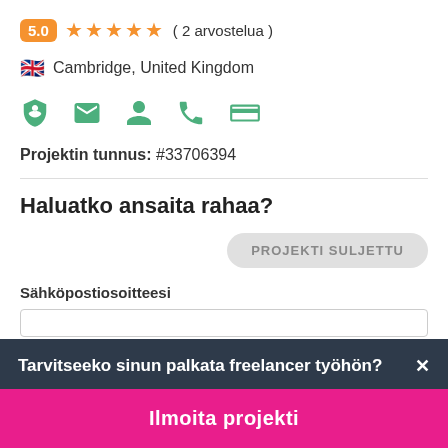5.0 ★★★★★ ( 2 arvostelua )
🇬🇧 Cambridge, United Kingdom
[Figure (infographic): Row of 5 green icons: shield with dollar sign, envelope, person/user, phone, credit card]
Projektin tunnus: #33706394
Haluatko ansaita rahaa?
PROJEKTI SULJETTU
Sähköpostiosoitteesi
Tarvitseeko sinun palkata freelancer työhön?
Ilmoita projekti